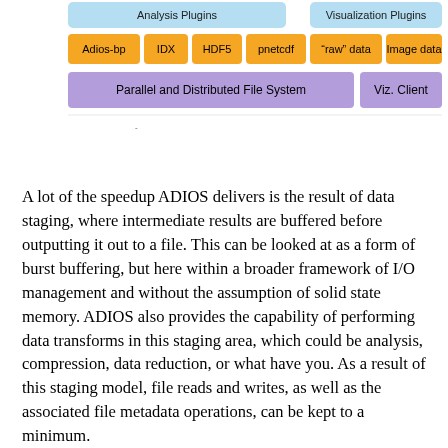[Figure (schematic): Diagram showing Analysis Plugins and Visualization Plugins at top, below them orange boxes for Adios-bp, IDX, HDF5, pnetcdf, raw data, Image data, and at bottom a purple bar for Parallel and Distributed File System with Viz. Client to the right.]
A lot of the speedup ADIOS delivers is the result of data staging, where intermediate results are buffered before outputting it out to a file. This can be looked at as a form of burst buffering, but here within a broader framework of I/O management and without the assumption of solid state memory. ADIOS also provides the capability of performing data transforms in this staging area, which could be analysis, compression, data reduction, or what have you. As a result of this staging model, file reads and writes, as well as the associated file metadata operations, can be kept to a minimum.
In addition, ADIOS offers a proprietary file format, known as BP, now in its third iteration. BP is especially